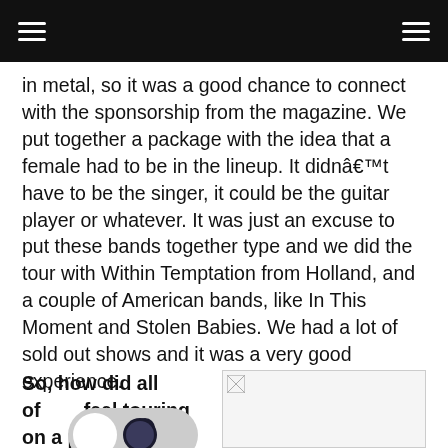in metal, so it was a good chance to connect with the sponsorship from the magazine. We put together a package with the idea that a female had to be in the lineup. It didn’t have to be the singer, it could be the guitar player or whatever. It was just an excuse to put these bands together type and we did the tour with Within Temptation from Holland, and a couple of American bands, like In This Moment and Stolen Babies. We had a lot of sold out shows and it was a very good experience.
So, how did all of feel touring on a package that
[Figure (photo): Partially loaded image placeholder in a bordered box]